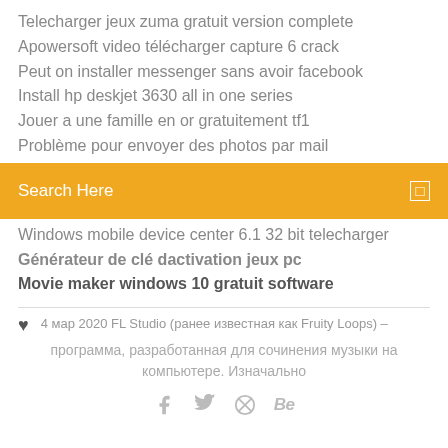Telecharger jeux zuma gratuit version complete
Apowersoft video télécharger capture 6 crack
Peut on installer messenger sans avoir facebook
Install hp deskjet 3630 all in one series
Jouer a une famille en or gratuitement tf1
Problème pour envoyer des photos par mail
Search Here
Windows mobile device center 6.1 32 bit telecharger
Générateur de clé dactivation jeux pc
Movie maker windows 10 gratuit software
4 мар 2020 FL Studio (ранее известная как Fruity Loops) – программа, разработанная для сочинения музыки на компьютере. Изначально
[Figure (infographic): Social media icons: Facebook (f), Twitter bird, globe/asterisk, Behance (Be)]